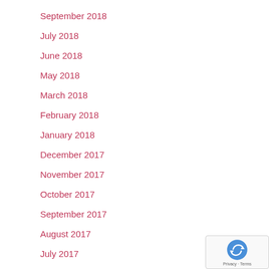September 2018
July 2018
June 2018
May 2018
March 2018
February 2018
January 2018
December 2017
November 2017
October 2017
September 2017
August 2017
July 2017
June 2017
May 2017
April 2017
March 2017